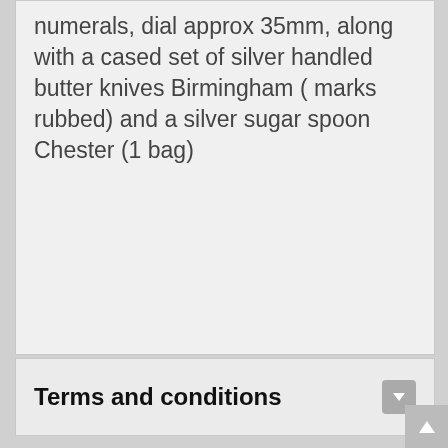numerals, dial approx 35mm, along with a cased set of silver handled butter knives Birmingham ( marks rubbed) and a silver sugar spoon Chester (1 bag)
Terms and conditions